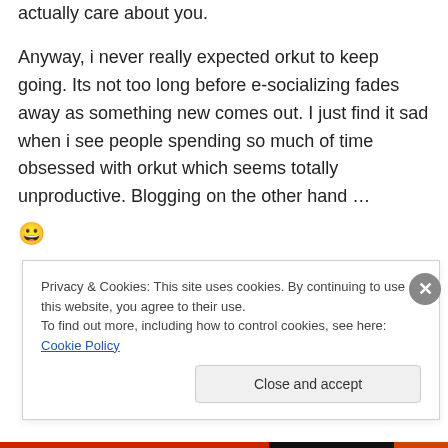actually care about you.
Anyway, i never really expected orkut to keep going. Its not too long before e-socializing fades away as something new comes out. I just find it sad when i see people spending so much of time obsessed with orkut which seems totally unproductive. Blogging on the other hand … 😀
Privacy & Cookies: This site uses cookies. By continuing to use this website, you agree to their use.
To find out more, including how to control cookies, see here: Cookie Policy
Close and accept